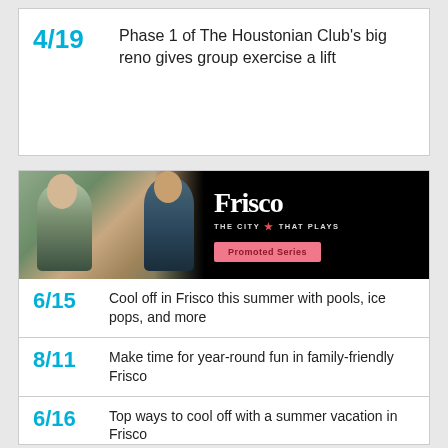4/19  Phase 1 of The Houstonian Club's big reno gives group exercise a lift
[Figure (photo): Frisco promotional banner ad showing two women in a shop, with text 'Frisco THE CITY THAT PLAYS' and a pink 'Promoted Series' button on a dark background]
6/15  Cool off in Frisco this summer with pools, ice pops, and more
8/11  Make time for year-round fun in family-friendly Frisco
6/16  Top ways to cool off with a summer vacation in Frisco